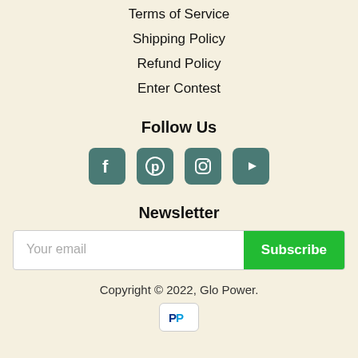Terms of Service
Shipping Policy
Refund Policy
Enter Contest
Follow Us
[Figure (illustration): Social media icons: Facebook, Pinterest, Instagram, YouTube]
Newsletter
Your email [Subscribe button]
Copyright © 2022, Glo Power.
[Figure (logo): PayPal payment icon]